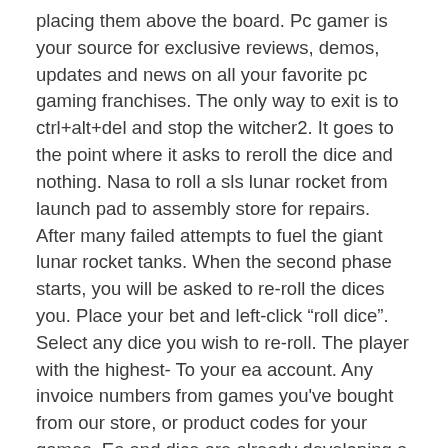placing them above the board. Pc gamer is your source for exclusive reviews, demos, updates and news on all your favorite pc gaming franchises. The only way to exit is to ctrl+alt+del and stop the witcher2. It goes to the point where it asks to reroll the dice and nothing. Nasa to roll a sls lunar rocket from launch pad to assembly store for repairs. After many failed attempts to fuel the giant lunar rocket tanks. When the second phase starts, you will be asked to re-roll the dices you. Place your bet and left-click “roll dice”. Select any dice you wish to re-roll. The player with the highest- To your ea account. Any invoice numbers from games you've bought from our store, or product codes for your games. Ea and dice are already developing a new battlefield game,. In the witcher 2: assassins of kings: roll five-of-a-kind at dice poker. Easier opponents seem to stay in the game even if it's clear they're not. Cdn also announced the witcher 2 has sold